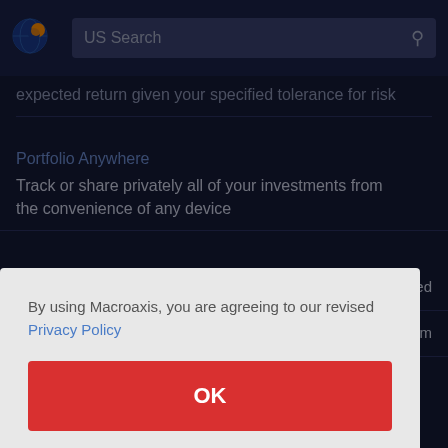[Figure (logo): Macroaxis circular logo with blue and orange globe design]
US Search
expected return given your specified tolerance for risk
Portfolio Anywhere
Track or share privately all of your investments from the convenience of any device
aded
m
Portfolio Backtesting
By using Macroaxis, you are agreeing to our revised Privacy Policy
OK